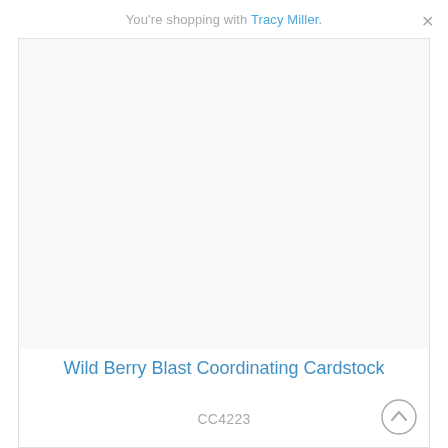You're shopping with Tracy Miller.
[Figure (photo): Product image area — white/light gray blank area for Wild Berry Blast Coordinating Cardstock product photo]
Wild Berry Blast Coordinating Cardstock
CC4223